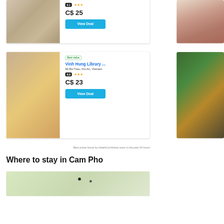[Figure (photo): Hotel interior dining/hall area with marble floors and wooden furniture]
9.1 ★★★
C$ 25
View Deal
[Figure (photo): Hotel lobby with Christmas tree decoration and checkered floor]
[Figure (photo): Hotel room with thatched ceiling and white beds]
Best value
Vinh Hung Library ...
96 Ba Trieu, Hoi An, Vietnam
8.8 ★★★
C$ 23
View Deal
[Figure (photo): Traditional Vietnamese food and cooking equipment]
Best prices found by HotelsCombined users in the past 24 hours.
Where to stay in Cam Pho
[Figure (map): Map preview of Cam Pho area]